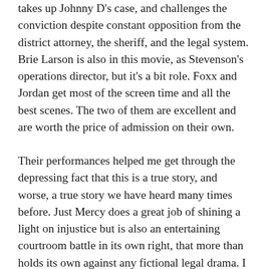takes up Johnny D's case, and challenges the conviction despite constant opposition from the district attorney, the sheriff, and the legal system. Brie Larson is also in this movie, as Stevenson's operations director, but it's a bit role. Foxx and Jordan get most of the screen time and all the best scenes. The two of them are excellent and are worth the price of admission on their own.
Their performances helped me get through the depressing fact that this is a true story, and worse, a true story we have heard many times before. Just Mercy does a great job of shining a light on injustice but is also an entertaining courtroom battle in its own right, that more than holds its own against any fictional legal drama. I was particularly impressed that the drama was allowed to play out with a minimal amount of Hollywood glitz, so that the courtroom scenes were close to how they would have played out in real life. Clearly, the filmmakers believed the real story was compelling enough to stand on its own, and they were